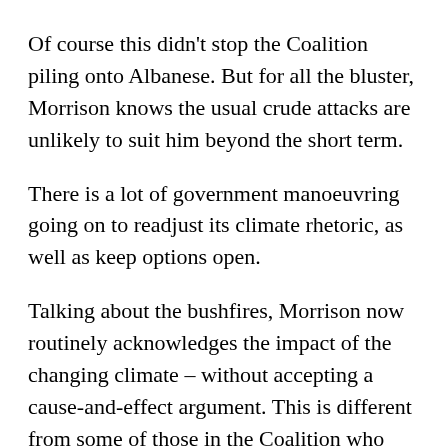Of course this didn't stop the Coalition piling onto Albanese. But for all the bluster, Morrison knows the usual crude attacks are unlikely to suit him beyond the short term.
There is a lot of government manoeuvring going on to readjust its climate rhetoric, as well as keep options open.
Talking about the bushfires, Morrison now routinely acknowledges the impact of the changing climate – without accepting a cause-and-effect argument. This is different from some of those in the Coalition who claim these fires were like all the others in our history.
On energy, while stressing the need for dispatchable power, Energy minister Angus Taylor is talking up,